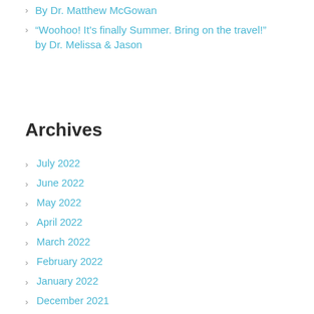By Dr. Matthew McGowan
“Woohoo! It’s finally Summer. Bring on the travel!” by Dr. Melissa & Jason
Archives
July 2022
June 2022
May 2022
April 2022
March 2022
February 2022
January 2022
December 2021
November 2021
October 2021
September 2021
August 2021
July 2021
June 2021